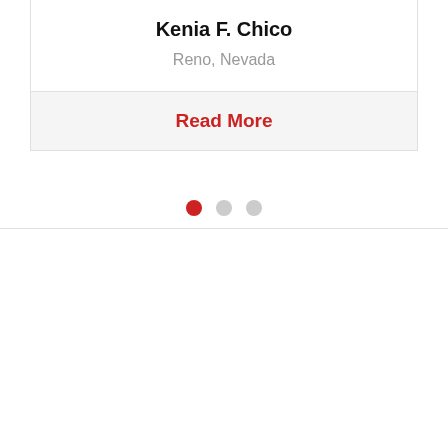Kenia F. Chico
Reno, Nevada
Read More
[Figure (infographic): Carousel pagination dots: three circles, first filled red (active), second and third grey (inactive)]